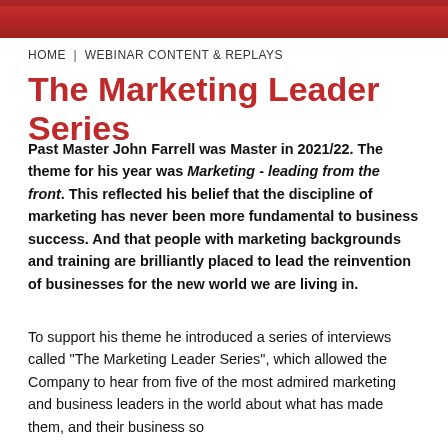[Figure (photo): Red banner image at top of page]
HOME | WEBINAR CONTENT & REPLAYS
The Marketing Leader Series
Past Master John Farrell was Master in 2021/22. The theme for his year was Marketing - leading from the front. This reflected his belief that the discipline of marketing has never been more fundamental to business success. And that people with marketing backgrounds and training are brilliantly placed to lead the reinvention of businesses for the new world we are living in.
To support his theme he introduced a series of interviews called "The Marketing Leader Series", which allowed the Company to hear from five of the most admired marketing and business leaders in the world about what has made them, and their business so